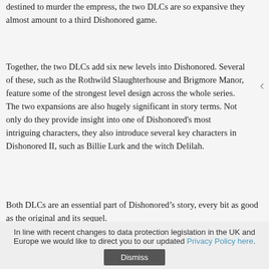destined to murder the empress, the two DLCs are so expansive they almost amount to a third Dishonored game.
Together, the two DLCs add six new levels into Dishonored. Several of these, such as the Rothwild Slaughterhouse and Brigmore Manor, feature some of the strongest level design across the whole series. The two expansions are also hugely significant in story terms. Not only do they provide insight into one of Dishonored's most intriguing characters, they also introduce several key characters in Dishonored II, such as Billie Lurk and the witch Delilah.
Both DLCs are an essential part of Dishonored’s story, every bit as good as the original and its sequel.
In line with recent changes to data protection legislation in the UK and Europe we would like to direct you to our updated Privacy Policy here. Dismiss